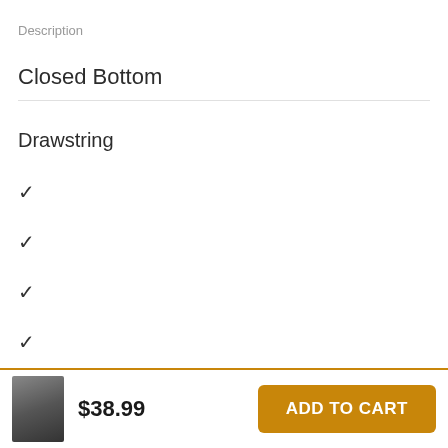Description
Closed Bottom
Drawstring
✓
✓
✓
✓
$38.99
ADD TO CART